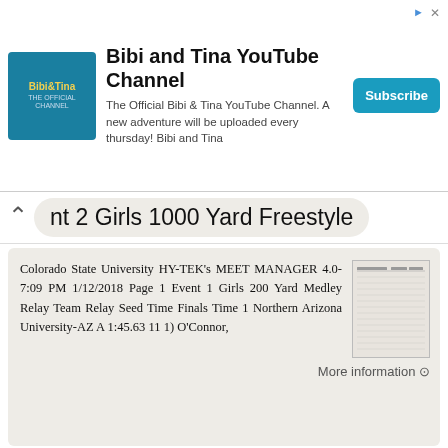[Figure (screenshot): Advertisement banner for Bibi and Tina YouTube Channel with logo, description text, and Subscribe button]
nt 2 Girls 1000 Yard Freestyle
Colorado State University HY-TEK's MEET MANAGER 4.0-7:09 PM 1/12/2018 Page 1 Event 1 Girls 200 Yard Medley Relay Team Relay Seed Time Finals Time 1 Northern Arizona University-AZ A 1:45.63 11 1) O'Connor,
More information ⊙
Institution Division Institution Division Arkansas State DI Southern Illinois University DI Bradley University DI
Institution Division Institution Division Arkansas State DI Southern Illinois University DI Bradley University DI Southern